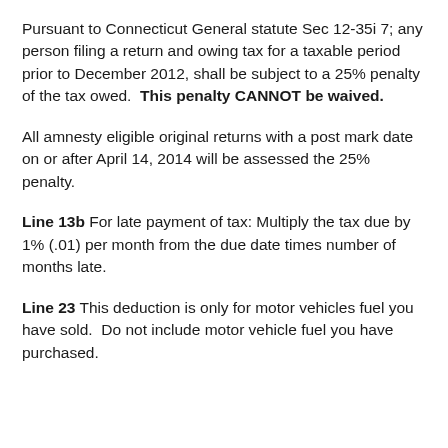Pursuant to Connecticut General statute Sec 12-35i 7; any person filing a return and owing tax for a taxable period prior to December 2012, shall be subject to a 25% penalty of the tax owed.  This penalty CANNOT be waived.
All amnesty eligible original returns with a post mark date on or after April 14, 2014 will be assessed the 25% penalty.
Line 13b For late payment of tax: Multiply the tax due by 1% (.01) per month from the due date times number of months late.
Line 23 This deduction is only for motor vehicles fuel you have sold.  Do not include motor vehicle fuel you have purchased.